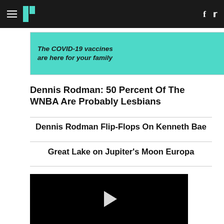HuffPost navigation bar with hamburger menu, logo, Facebook and Twitter icons
[Figure (other): Moderna advertisement banner: 'The COVID-19 vaccines are here for your family' with Moderna logo and legal text]
Dennis Rodman: 50 Percent Of The WNBA Are Probably Lesbians
Dennis Rodman Flip-Flops On Kenneth Bae
Great Lake on Jupiter's Moon Europa
[Figure (other): Black video player with white play button triangle]